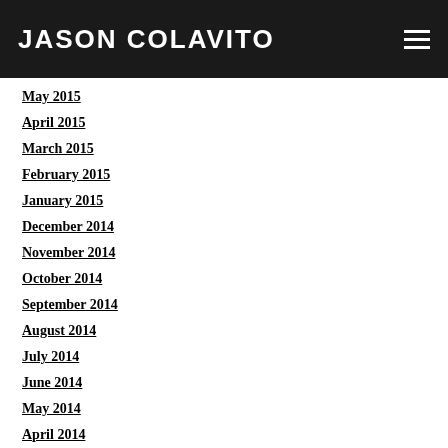JASON COLAVITO
May 2015
April 2015
March 2015
February 2015
January 2015
December 2014
November 2014
October 2014
September 2014
August 2014
July 2014
June 2014
May 2014
April 2014
March 2014
February 2014